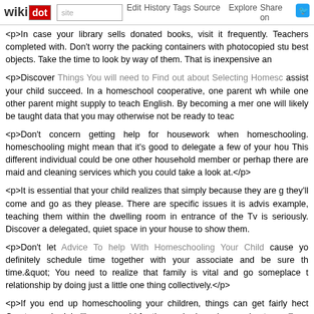wikidot | site | Edit | History | Tags | Source | Explore | Share on [twitter]
<p>In case your library sells donated books, visit it frequently. Teachers completed with. Don't worry the packing containers with photocopied stu best objects. Take the time to look by way of them. That is inexpensive an
<p>Discover Things You will need to Find out about Selecting Homesc assist your child succeed. In a homeschool cooperative, one parent wh while one other parent might supply to teach English. By becoming a mer one will likely be taught data that you may otherwise not be ready to teac
<p>Don't concern getting help for housework when homeschooling. homeschooling might mean that it's good to delegate a few of your hou This different individual could be one other household member or perhap there are maid and cleaning services which you could take a look at.</p>
<p>It is essential that your child realizes that simply because they are g they'll come and go as they please. There are specific issues it is advis example, teaching them within the dwelling room in entrance of the Tv is seriously. Discover a delegated, quiet space in your house to show them.
<p>Don't let Advice To help With Homeschooling Your Child cause yo definitely schedule time together with your associate and be sure th time.&quot; You need to realize that family is vital and go someplace t relationship by doing just a little one thing collectively.</p>
<p>If you end up homeschooling your children, things can get fairly hect Create a schedule like you would for those who have been going to wo From Profitable Homeschooling Parents do in the morning, like making y schedule will forestall chaos in your house.</p>